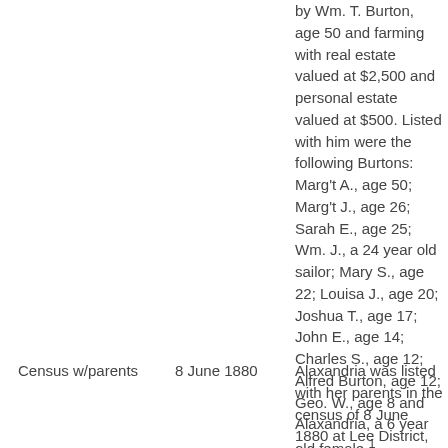by Wm. T. Burton, age 50 and farming with real estate valued at $2,500 and personal estate valued at $500. Listed with him were the following Burtons: Marg't A., age 50; Marg't J., age 26; Sarah E., age 25; Wm. J., a 24 year old sailor; Mary S., age 22; Louisa J., age 20; Joshua T., age 17; John E., age 14; Charles S., age 12; Alfred Burton, age 12; Geo. W., age 8 and Alaxandria, a 6 year old female.¹
Census w/parents
8 June 1880
Alaxandria was listed with her parents in the census of 8 June 1880 at Lee District, Accomack Co, VA.